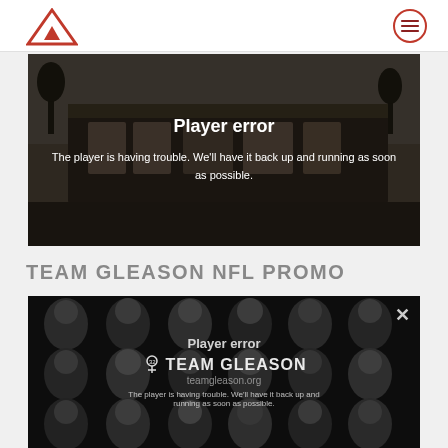Site header with logo and menu button
[Figure (screenshot): Video player showing a dark street scene with a tram/bus, displaying a player error message overlay: 'Player error' and 'The player is having trouble. We'll have it back up and running as soon as possible.']
TEAM GLEASON NFL PROMO
[Figure (screenshot): Second video player in dark/black showing a grid of athlete faces (black and white), with a player error overlay showing 'Player error', 'TEAM GLEASON', 'teamgleason.org', and error message text. An X close button appears in the top right corner.]